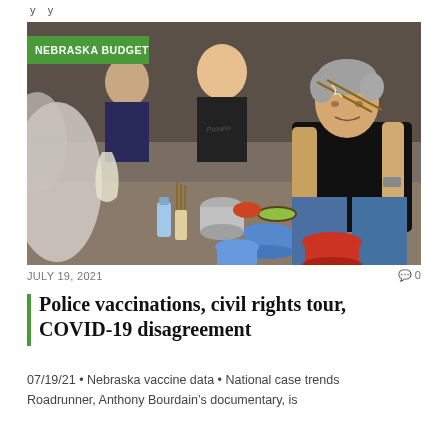y y
[Figure (photo): A man with gray hair wearing a black t-shirt uses chopsticks to eat noodles while seated outdoors at a street food stall in Asia. Other people are seated around a low table with bowls and food. Small colorful plastic stools are visible. A 'NEBRASKA BUDGET' green label tag is overlaid in the top-left corner of the image.]
JULY 19, 2021   0 0
Police vaccinations, civil rights tour, COVID-19 disagreement
07/19/21 • Nebraska vaccine data • National case trends Roadrunner, Anthony Bourdain's documentary, is